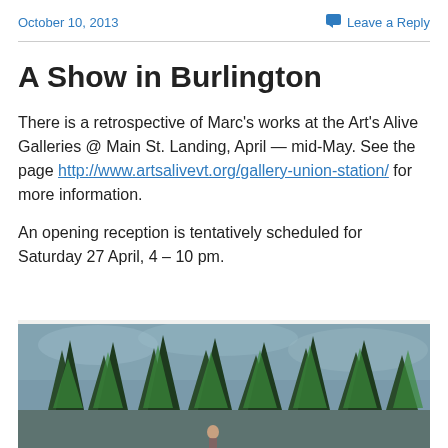October 10, 2013    Leave a Reply
A Show in Burlington
There is a retrospective of Marc's works at the Art's Alive Galleries @ Main St. Landing, April — mid-May.  See the page http://www.artsalivevt.org/gallery-union-station/ for more information.
An opening reception is tentatively scheduled for Saturday 27 April, 4 – 10 pm.
[Figure (photo): Partial view of a painting showing stylized green tree shapes against a grey-blue sky background, with a small figure visible at the bottom.]